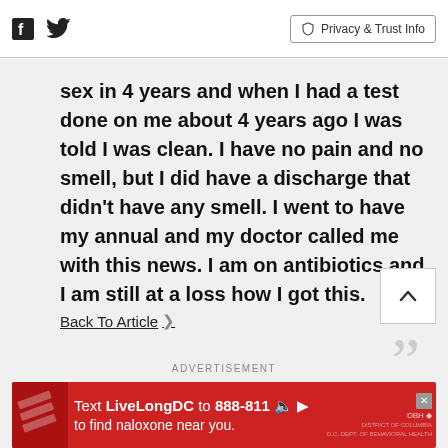Facebook | Twitter | Privacy & Trust Info
sex in 4 years and when I had a test done on me about 4 years ago I was told I was clean. I have no pain and no smell, but I did have a discharge that didn't have any smell. I went to have my annual and my doctor called me with this news. I am on antibiotics and I am still at a loss how I got this.
Back To Article >
ADVERTISEMENT
[Figure (other): Advertisement banner: Text LiveLongDC to 888-811 to find naloxone near you.]